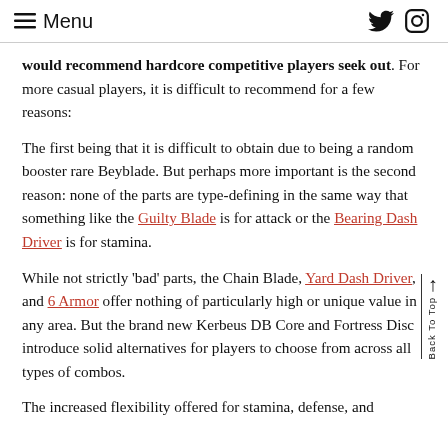≡ Menu
would recommend hardcore competitive players seek out. For more casual players, it is difficult to recommend for a few reasons:
The first being that it is difficult to obtain due to being a random booster rare Beyblade. But perhaps more important is the second reason: none of the parts are type-defining in the same way that something like the Guilty Blade is for attack or the Bearing Dash Driver is for stamina.
While not strictly 'bad' parts, the Chain Blade, Yard Dash Driver, and 6 Armor offer nothing of particularly high or unique value in any area. But the brand new Kerbeus DB Core and Fortress Disc introduce solid alternatives for players to choose from across all types of combos.
The increased flexibility offered for stamina, defense, and